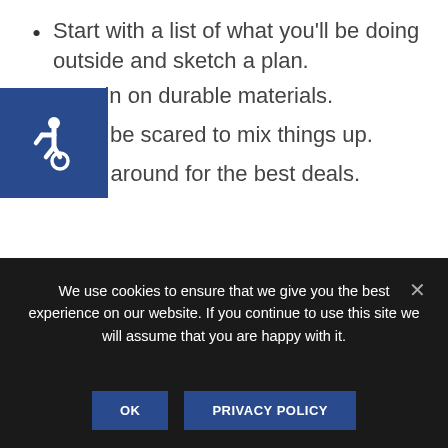Start with a list of what you'll be doing outside and sketch a plan.
Zero in on durable materials.
Don't be scared to mix things up.
Shop around for the best deals.
#1. START WITH A LIST OF WHAT YOU'LL BE DOING OUTSIDE AND SKETCH A PLAN.
Picnicking? Lounging poolside? Playing sports?
We use cookies to ensure that we give you the best experience on our website. If you continue to use this site we will assume that you are happy with it.